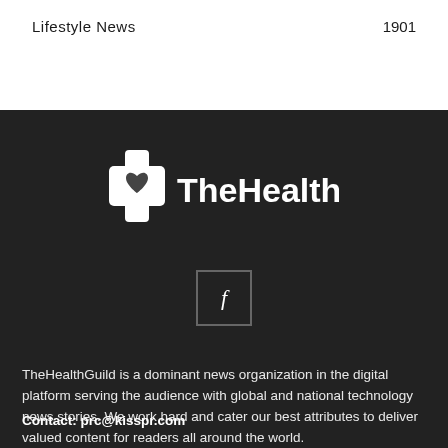Lifestyle News    1901
[Figure (logo): TheHealthGuild logo: white medical cross with heart icon followed by bold white text 'TheHealthGuild' on dark background]
[Figure (illustration): Facebook icon: lowercase 'f' in white inside a dark square with border]
TheHealthGuild is a dominant news organization in the digital platform serving the audience with global and national technology news stories. We work hard and cater our best attributes to deliver valued content for readers all around the world.
Contact: prc@kisspr.com